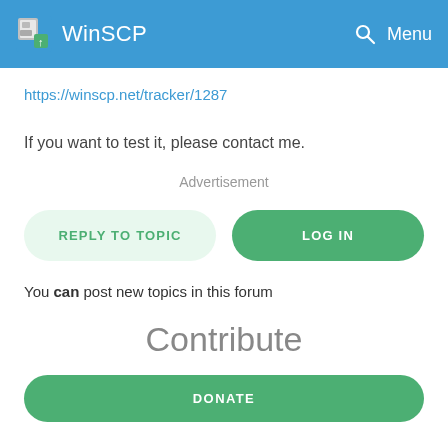WinSCP  Menu
https://winscp.net/tracker/1287
If you want to test it, please contact me.
Advertisement
REPLY TO TOPIC
LOG IN
You can post new topics in this forum
Contribute
DONATE